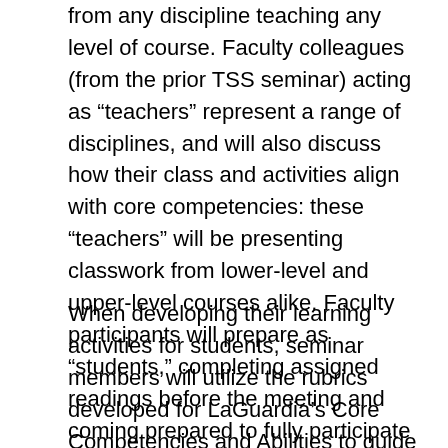from any discipline teaching any level of course. Faculty colleagues (from the prior TSS seminar) acting as “teachers” represent a range of disciplines, and will also discuss how their class and activities align with core competencies: these “teachers” will be presenting classwork from lower-level and upper-level courses alike. Faculty participants will prepare as “students,” completing assigned readings before the meeting and coming prepared to fully participate in session activities.
When developing their learning activities for students, seminar members will utilize the rubrics developed for LaGuardia’s Core Competencies and Abilities to guide their assignment design. Learning activities developed by faculty will become part of the CUNY Open Education Resources bank. Participants in the seminar will be